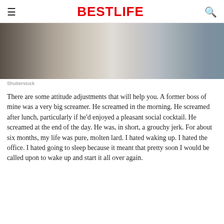BestLife
[Figure (photo): Two people at a desk in an office setting, one holding a pen, laptop and glass of water visible]
Shutterstock
There are some attitude adjustments that will help you. A former boss of mine was a very big screamer. He screamed in the morning. He screamed after lunch, particularly if he'd enjoyed a pleasant social cocktail. He screamed at the end of the day. He was, in short, a grouchy jerk. For about six months, my life was pure, molten lard. I hated waking up. I hated the office. I hated going to sleep because it meant that pretty soon I would be called upon to wake up and start it all over again.